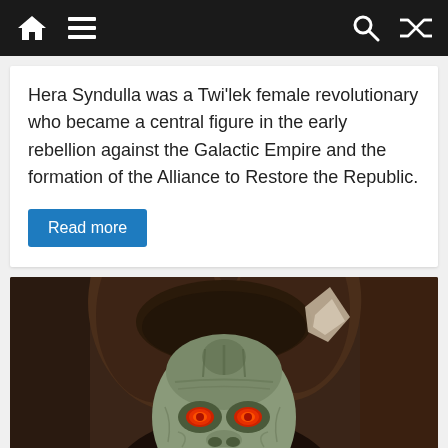Navigation bar with home, menu, search, and shuffle icons
Hera Syndulla was a Twi'lek female revolutionary who became a central figure in the early rebellion against the Galactic Empire and the formation of the Alliance to Restore the Republic.
Read more
[Figure (photo): Close-up photo of an alien character with wrinkled grey-green skin, red glowing eyes, and large lekku (head-tails) wrapped in a dark brown headdress with decorative elements. The character appears to be from Star Wars.]